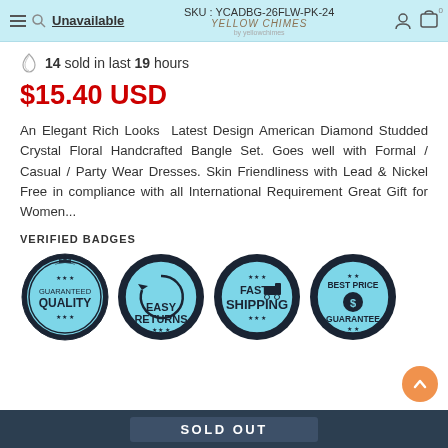Unavailable | SKU : YCADBG-26FLW-PK-24 | YELLOW CHIMES
14 sold in last 19 hours
$15.40 USD
An Elegant Rich Looks  Latest Design American Diamond Studded Crystal Floral Handcrafted Bangle Set. Goes well with Formal / Casual / Party Wear Dresses. Skin Friendliness with Lead & Nickel Free in compliance with all International Requirement Great Gift for Women...
VERIFIED BADGES
[Figure (infographic): Four circular verified badges: Guaranteed Quality, Easy Returns, Fast Shipping, Best Price Guarantee — dark navy border with light blue fill]
SOLD OUT